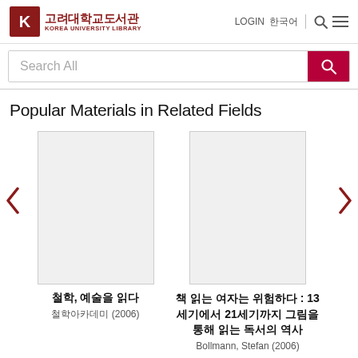[Figure (logo): Korea University Library logo with emblem and Korean/English text]
LOGIN 한국어
[Figure (screenshot): Search All input bar with pink search button]
Popular Materials in Related Fields
[Figure (illustration): Left arrow navigation button in dark red]
[Figure (photo): Book cover placeholder for 철학, 예술을 읽다]
철학, 예술을 읽다
철학아카데미 (2006)
[Figure (photo): Book cover placeholder for 책 읽는 여자는 위험하다]
책 읽는 여자는 위험하다 : 13세기에서 21세기까지 그림을 통해 읽는 독서의 역사
Bollmann, Stefan (2006)
[Figure (illustration): Right arrow navigation button in dark red]
New Arrivals in Related Fields